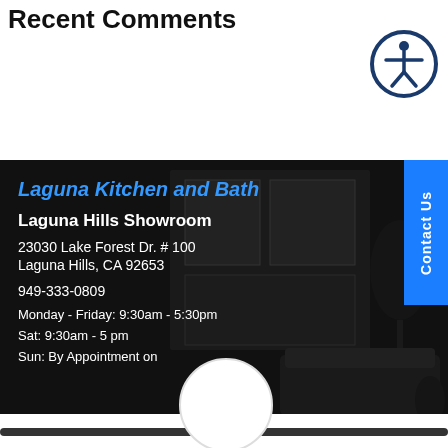Recent Comments
[Figure (illustration): Accessibility icon — circular dark blue border with white figure of a person, arms outstretched]
Laguna Kitchen and Bath
Laguna Hills Showroom
23030 Lake Forest Dr. # 100
Laguna Hills, CA 92653
949-333-0809
Monday - Friday: 9:30am - 5:30pm
Sat: 9:30am - 5 pm
Sun: By Appointment on